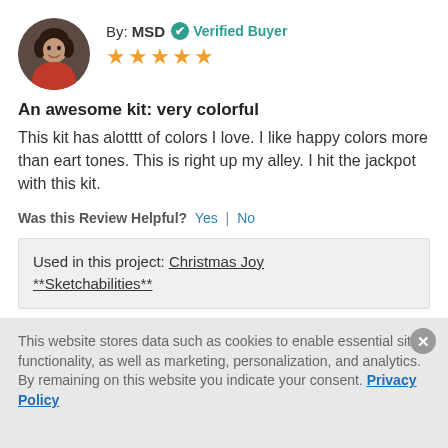[Figure (photo): Circular avatar photo of a woman smiling]
By: MSD  ✔ Verified Buyer
★★★★★
An awesome kit: very colorful
This kit has alotttt of colors I love. I like happy colors more than eart tones. This is right up my alley. I hit the jackpot with this kit.
Was this Review Helpful?  Yes  |  No
Used in this project: Christmas Joy **Sketchabilities**
Add a Comment
This website stores data such as cookies to enable essential site functionality, as well as marketing, personalization, and analytics. By remaining on this website you indicate your consent. Privacy Policy